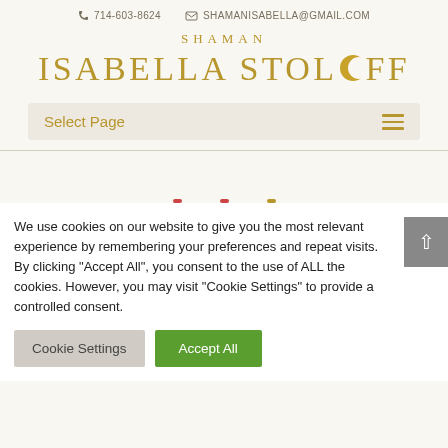714-603-8624   SHAMANISABELLA@GMAIL.COM
SHAMAN ISABELLA STOLOFF
Select Page
We use cookies on our website to give you the most relevant experience by remembering your preferences and repeat visits. By clicking "Accept All", you consent to the use of ALL the cookies. However, you may visit "Cookie Settings" to provide a controlled consent.
Cookie Settings   Accept All